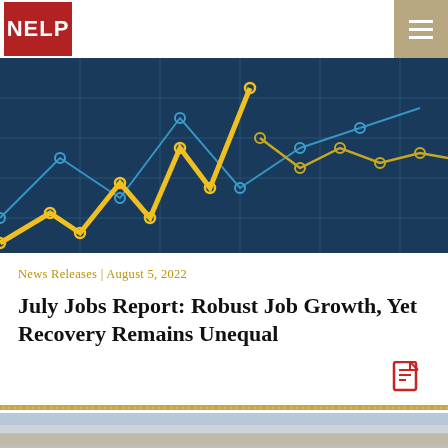NELP
[Figure (illustration): Hero banner image showing a financial/economic line chart with yellow and blue lines on a dark teal/navy background, representing job growth trends]
News Releases | August 5, 2022
July Jobs Report: Robust Job Growth, Yet Recovery Remains Unequal
[Figure (other): Document/PDF icon in red color]
[Figure (photo): Bottom partial image peek showing a light sky/outdoor scene]